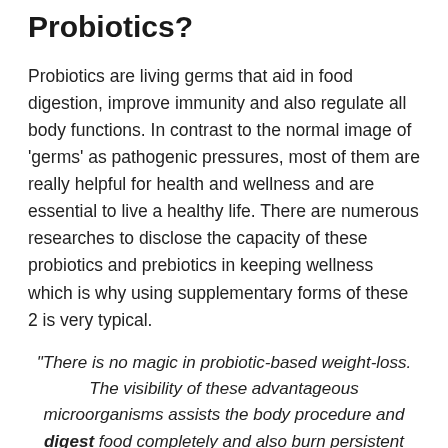Probiotics?
Probiotics are living germs that aid in food digestion, improve immunity and also regulate all body functions. In contrast to the normal image of 'germs' as pathogenic pressures, most of them are really helpful for health and wellness and are essential to live a healthy life. There are numerous researches to disclose the capacity of these probiotics and prebiotics in keeping wellness which is why using supplementary forms of these 2 is very typical.
“There is no magic in probiotic-based weight-loss. The visibility of these advantageous microorganisms assists the body procedure and digest food completely and also burn persistent